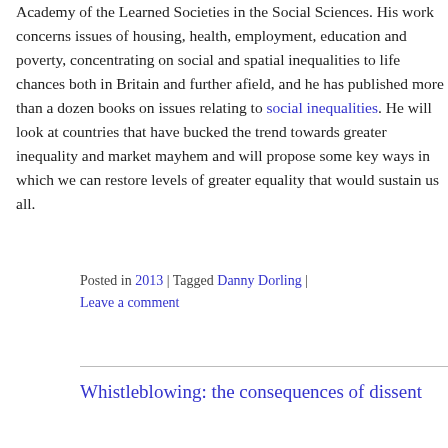Academy of the Learned Societies in the Social Sciences. His work concerns issues of housing, health, employment, education and poverty, concentrating on social and spatial inequalities to life chances both in Britain and further afield, and he has published more than a dozen books on issues relating to social inequalities. He will look at countries that have bucked the trend towards greater inequality and market mayhem and will propose some key ways in which we can restore levels of greater equality that would sustain us all.
Posted in 2013 | Tagged Danny Dorling | Leave a comment
Whistleblowing: the consequences of dissent